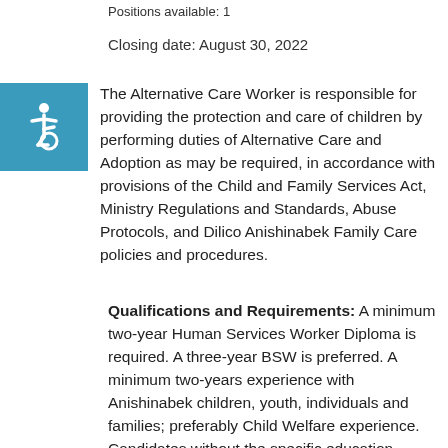Positions available: 1
Closing date: August 30, 2022
[Figure (illustration): Blue square with white wheelchair accessibility icon]
The Alternative Care Worker is responsible for providing the protection and care of children by performing duties of Alternative Care and Adoption as may be required, in accordance with provisions of the Child and Family Services Act, Ministry Regulations and Standards, Abuse Protocols, and Dilico Anishinabek Family Care policies and procedures.
Qualifications and Requirements: A minimum two-year Human Services Worker Diploma is required. A three-year BSW is preferred. A minimum two-years experience with Anishinabek children, youth, individuals and families; preferably Child Welfare experience. Candidates without the specific education qualifications and where the position does not